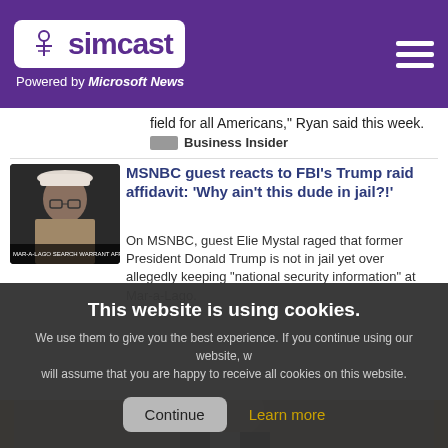simcast — Powered by Microsoft News
field for all Americans," Ryan said this week.
Business Insider
MSNBC guest reacts to FBI's Trump raid affidavit: 'Why ain't this dude in jail?!'
On MSNBC, guest Elie Mystal raged that former President Donald Trump is not in jail yet over allegedly keeping "national security information" at Mar-a-Lago.
[Figure (screenshot): Thumbnail image of MSNBC broadcast showing a guest, with chyron reading 'MAR-A-LAGO SEARCH WARRANT AFFIDAVIT UNSEALED']
This website is using cookies. We use them to give you the best experience. If you continue using our website, we will assume that you are happy to receive all cookies on this website.
[Figure (photo): Photo of a person in a suit, partially cropped, with a gold-framed background]